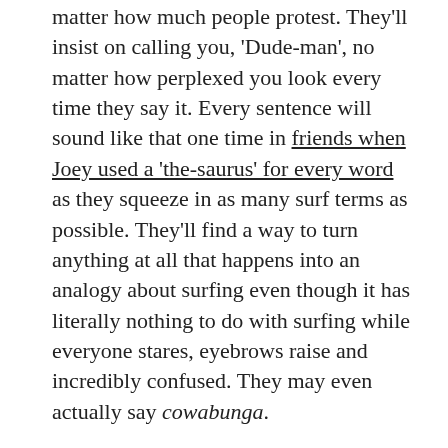matter how much people protest. They'll insist on calling you, 'Dude-man', no matter how perplexed you look every time they say it. Every sentence will sound like that one time in friends when Joey used a 'the-saurus' for every word as they squeeze in as many surf terms as possible. They'll find a way to turn anything at all that happens into an analogy about surfing even though it has literally nothing to do with surfing while everyone stares, eyebrows raise and incredibly confused. They may even actually say cowabunga.
The Insta-Famous Faker
The Insta-Famous Faker and actual waves are rarely seen in the same room together. Like closet mermaids, they'll always find an excuse to stay out of the water. However a quick scroll through the Facebook or Instagram feed